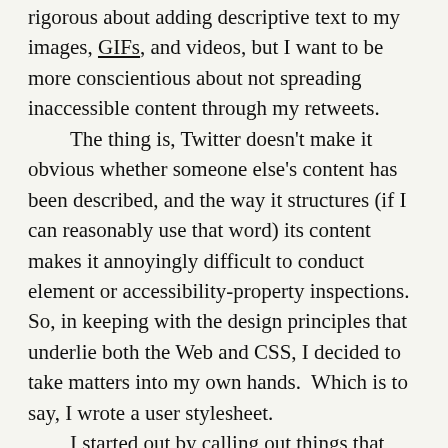rigorous about adding descriptive text to my images, GIFs, and videos, but I want to be more conscientious about not spreading inaccessible content through my retweets.

The thing is, Twitter doesn't make it obvious whether someone else's content has been described, and the way it structures (if I can reasonably use that word) its content makes it annoyingly difficult to conduct element or accessibility-property inspections.  So, in keeping with the design principles that underlie both the Web and CSS, I decided to take matters into my own hands.  Which is to say, I wrote a user stylesheet.

I started out by calling out things that lacked useful alt text.  It went something like this:
CSS
div[aria-label="Image"]::before {
    content: "WARNING: no useful ALT text";
    background: yellow;
    border: 0.5em solid red;
    border-radius: 1em;